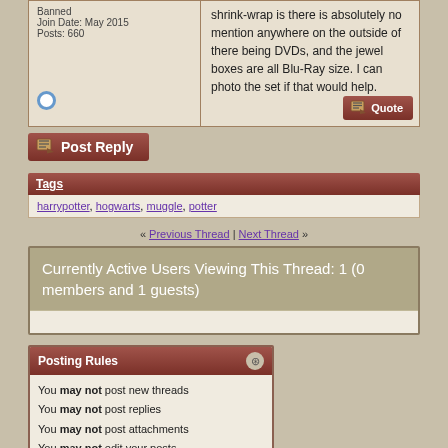Banned
Join Date: May 2015
Posts: 660
shrink-wrap is there is absolutely no mention anywhere on the outside of there being DVDs, and the jewel boxes are all Blu-Ray size. I can photo the set if that would help.
Post Reply
Tags
harrypotter, hogwarts, muggle, potter
« Previous Thread | Next Thread »
Currently Active Users Viewing This Thread: 1 (0 members and 1 guests)
Posting Rules
You may not post new threads
You may not post replies
You may not post attachments
You may not edit your posts
BB code is On
Smilies are On